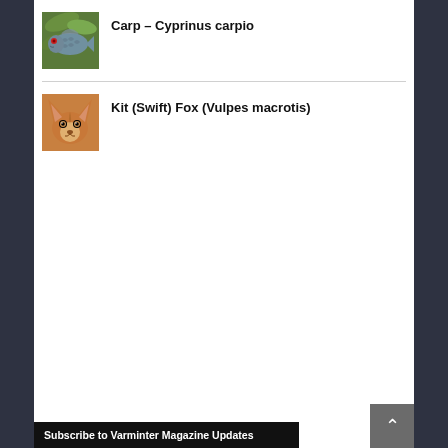[Figure (photo): Thumbnail photo of a carp fish (Cyprinus carpio) on green background]
Carp – Cyprinus carpio
[Figure (photo): Thumbnail photo of a Kit (Swift) Fox (Vulpes macrotis) facing camera]
Kit (Swift) Fox (Vulpes macrotis)
Subscribe to Varminter Magazine Updates